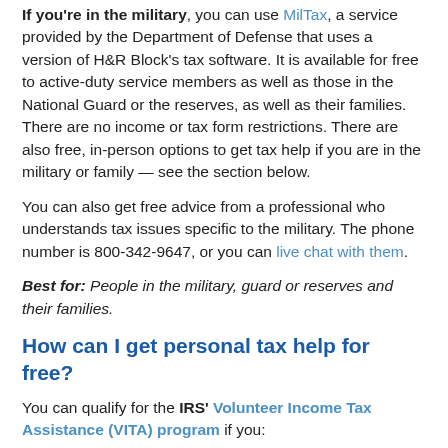If you're in the military, you can use MilTax, a service provided by the Department of Defense that uses a version of H&R Block's tax software. It is available for free to active-duty service members as well as those in the National Guard or the reserves, as well as their families. There are no income or tax form restrictions. There are also free, in-person options to get tax help if you are in the military or family — see the section below.
You can also get free advice from a professional who understands tax issues specific to the military. The phone number is 800-342-9647, or you can live chat with them.
Best for: People in the military, guard or reserves and their families.
How can I get personal tax help for free?
You can qualify for the IRS' Volunteer Income Tax Assistance (VITA) program if you:
Make less than around $57,000 a year, OR
Live with a disability, OR